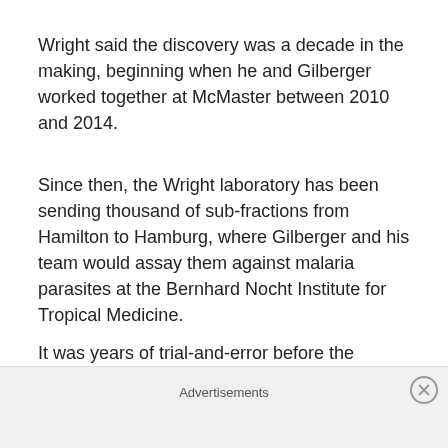Wright said the discovery was a decade in the making, beginning when he and Gilberger worked together at McMaster between 2010 and 2014.
Since then, the Wright laboratory has been sending thousand of sub-fractions from Hamilton to Hamburg, where Gilberger and his team would assay them against malaria parasites at the Bernhard Nocht Institute for Tropical Medicine.
It was years of trial-and-error before the researchers finally fractionated the right molecule — a process Wright likens to finding a needle in a haystack.
Advertisements